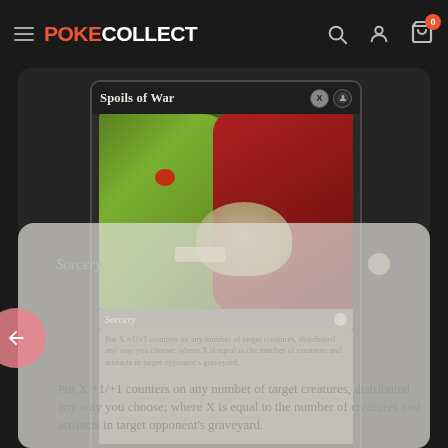PokeCollect
[Figure (photo): Magic: The Gathering card 'Spoils of War' showing a goblin creature holding a skull, with red robes in the background. Card text reads: Sorcery - Put X +1/+1 counters on any number of target creatures, distributed any way you choose; where X is equal to the number of creatures and artifacts in target opponent's graveyard.]
Sorcery
Put X +1/+1 counters on any number of target creatures, distributed any way you choose; where X is equal to the number of creatures and artifacts in target opponent's graveyard.